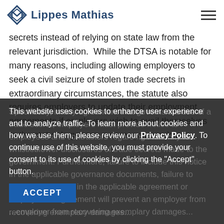Lippes Mathias
secrets instead of relying on state law from the relevant jurisdiction. While the DTSA is notable for many reasons, including allowing employers to seek a civil seizure of stolen trade secrets in extraordinary circumstances, the statute also requires employers to update their employment agreements if employers wish to avail themselves to the statute's generous damages provisions.
Specifically, in any agreement that governs the use of a trade secret, employers must provide notice to employees and contractors regarding immunity for ...governance... failure to include this notice ...employment agreement will ...employer from recovering exemplary damages...
This website uses cookies to enhance user experience and to analyze traffic. To learn more about cookies and how we use them, please review our Privacy Policy. To continue use of this website, you must provide your consent to its use of cookies by clicking the "Accept" button.